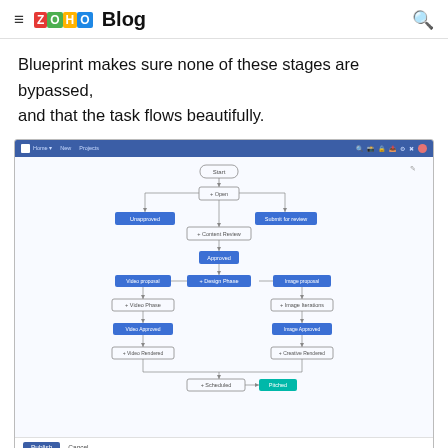≡ ZOHO Blog 🔍
Blueprint makes sure none of these stages are bypassed, and that the task flows beautifully.
[Figure (screenshot): Zoho Projects Blueprint flowchart showing workflow stages: Start → Open → Unapproved/Submit for Review → Content Review → Approved → Design Phase (branching to Video Proposal → Video Phase → Video Approved → Video Rendered, and Image Proposal → Image Iterations → Image Approved → Creative Rendered) → Scheduled → Pitched. Publish and Cancel buttons at bottom.]
With more control comes power: Set transition